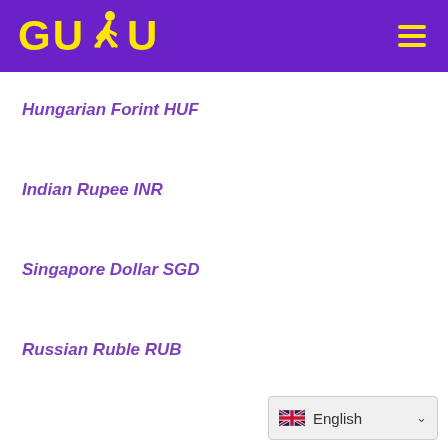[Figure (logo): GUDU logo with runner icon in yellow on purple background, with hamburger menu icon]
Hungarian Forint HUF
Indian Rupee INR
Singapore Dollar SGD
Russian Ruble RUB
[Figure (screenshot): Language selector showing UK flag and 'English' with dropdown chevron]